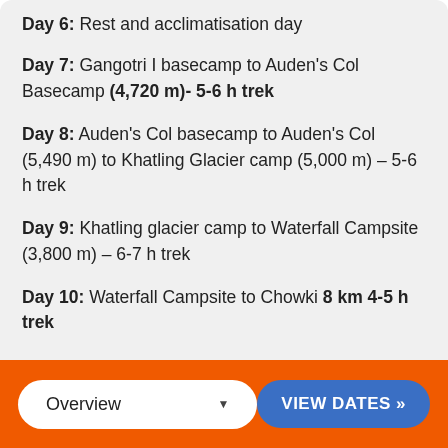Day 6: Rest and acclimatisation day
Day 7: Gangotri I basecamp to Auden's Col Basecamp (4,720 m)- 5-6 h trek
Day 8: Auden's Col basecamp to Auden's Col (5,490 m) to Khatling Glacier camp (5,000 m) – 5-6 h trek
Day 9: Khatling glacier camp to Waterfall Campsite (3,800 m) – 6-7 h trek
Day 10: Waterfall Campsite to Chowki 8 km 4-5 h trek
Overview
VIEW DATES »